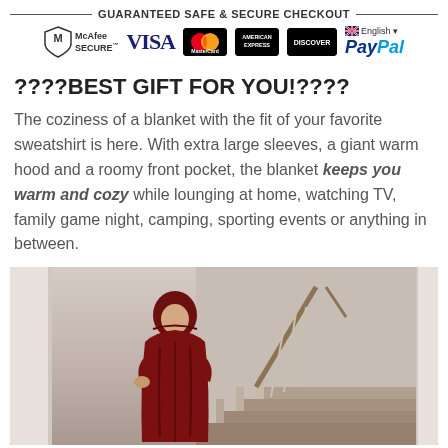[Figure (infographic): Guaranteed Safe & Secure Checkout banner with payment icons: McAfee Secure, VISA, MasterCard, American Express, Discover, and PayPal with English/flag selector]
????BEST GIFT FOR YOU!????
The coziness of a blanket with the fit of your favorite sweatshirt is here. With extra large sleeves, a giant warm hood and a roomy front pocket, the blanket keeps you warm and cozy while lounging at home, watching TV, family game night, camping, sporting events or anything in between.
[Figure (photo): Person wearing a large dark red blanket hoodie sweatshirt, standing on a staircase inside a home]